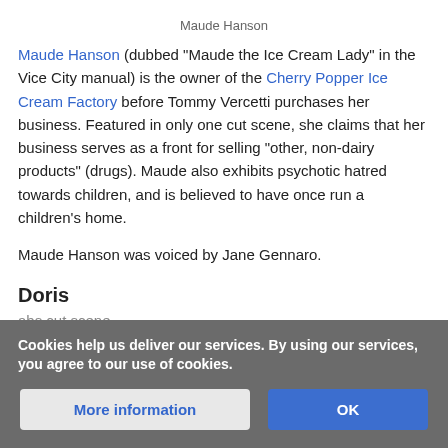Maude Hanson
Maude Hanson (dubbed "Maude the Ice Cream Lady" in the Vice City manual) is the owner of the Cherry Popper Ice Cream Factory before Tommy Vercetti purchases her business. Featured in only one cut scene, she claims that her business serves as a front for selling "other, non-dairy products" (drugs). Maude also exhibits psychotic hatred towards children, and is believed to have once run a children's home.
Maude Hanson was voiced by Jane Gennaro.
Doris
abs cut scene
Cookies help us deliver our services. By using our services, you agree to our use of cookies.
More information
OK